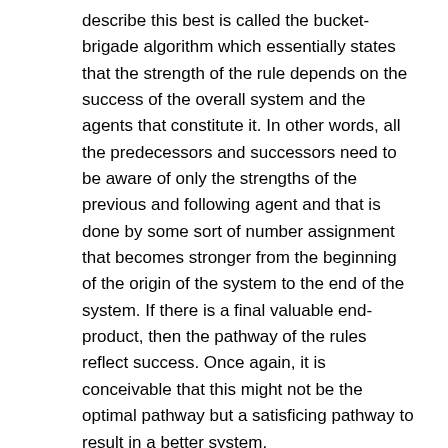describe this best is called the bucket-brigade algorithm which essentially states that the strength of the rule depends on the success of the overall system and the agents that constitute it. In other words, all the predecessors and successors need to be aware of only the strengths of the previous and following agent and that is done by some sort of number assignment that becomes stronger from the beginning of the origin of the system to the end of the system. If there is a final valuable end-product, then the pathway of the rules reflect success. Once again, it is conceivable that this might not be the optimal pathway but a satisficing pathway to result in a better system.
3. Rule discovery (generating new capabilities): Performance and credit assignment in agent behavior suggest that the agents are governed by a certain bias.